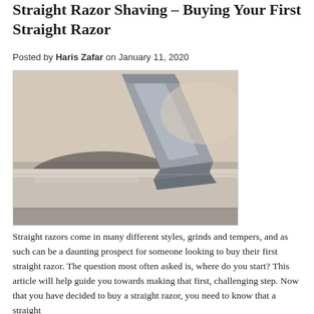Straight Razor Shaving – Buying Your First Straight Razor
Posted by Haris Zafar on January 11, 2020
[Figure (photo): Close-up photograph of a straight razor blade resting on a sharpening stone, viewed at an angle showing the blade edge and spine against the grey stone surface.]
Straight razors come in many different styles, grinds and tempers, and as such can be a daunting prospect for someone looking to buy their first straight razor. The question most often asked is, where do you start? This article will help guide you towards making that first, challenging step. Now that you have decided to buy a straight razor, you need to know that a straight